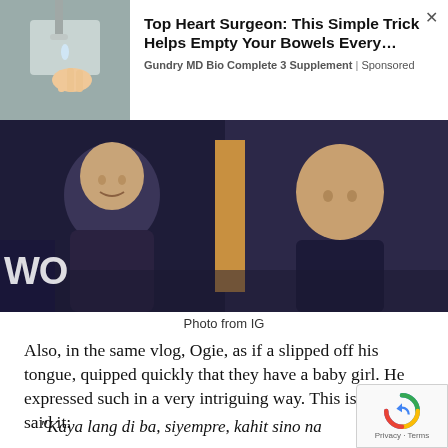[Figure (other): Advertisement banner: image of hand with object near sink on left; text 'Top Heart Surgeon: This Simple Trick Helps Empty Your Bowels Every…' with source 'Gundry MD Bio Complete 3 Supplement | Sponsored' on right; close X button top right]
[Figure (photo): Two people side by side: on left a smiling man in dark shirt with 'WO' text visible behind him; on right a woman with hands clasped near chin, both appear to be in a TV studio setting]
Photo from IG
Also, in the same vlog, Ogie, as if a slipped off his tongue, quipped quickly that they have a baby girl. He expressed such in a very intriguing way. This is how he said it:
“Kaya lang di ba, siyempre, kahit sino na proud ka sa anak mo. Gusto mo siyang ilah...